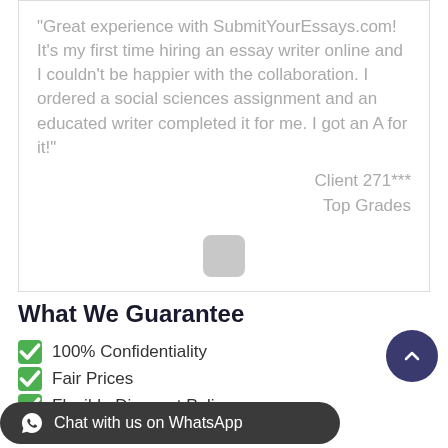"Great experience with SubmitYourEssays.com! It's my first time hiring an essay writer online and I couldn't be happier with the collaboration. I ordered a social sciences assignment and an educated writer completed it for me. I got an A for it!"
Client 271***
Top Grades
What We Guarantee
100% Confidentiality
Fair Prices
Flexible Discount Policy
Any Urgency Level